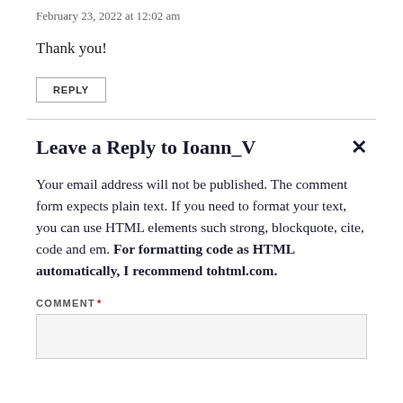February 23, 2022 at 12:02 am
Thank you!
REPLY
Leave a Reply to Ioann_V
Your email address will not be published. The comment form expects plain text. If you need to format your text, you can use HTML elements such strong, blockquote, cite, code and em. For formatting code as HTML automatically, I recommend tohtml.com.
COMMENT *